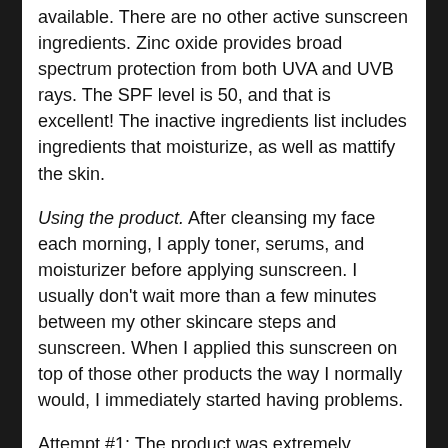available. There are no other active sunscreen ingredients. Zinc oxide provides broad spectrum protection from both UVA and UVB rays. The SPF level is 50, and that is excellent! The inactive ingredients list includes ingredients that moisturize, as well as mattify the skin.
Using the product. After cleansing my face each morning, I apply toner, serums, and moisturizer before applying sunscreen. I usually don't wait more than a few minutes between my other skincare steps and sunscreen. When I applied this sunscreen on top of those other products the way I normally would, I immediately started having problems.
Attempt #1: The product was extremely difficult to blend into the skin and leaves a white cast no matter how much time is spent blending. Once I sufficiently blended the sunscreen on my skin, it still looked streaky with a lot of pilling (if you're not familiar with this term in regards to skincare, it's the same as pilling on an old sweater…it's